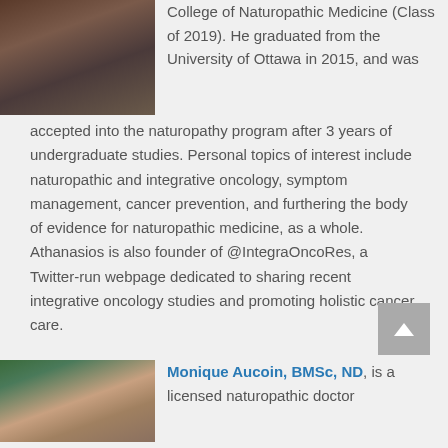[Figure (photo): Photo of a young man with beard wearing a dark red/maroon top]
College of Naturopathic Medicine (Class of 2019). He graduated from the University of Ottawa in 2015, and was accepted into the naturopathy program after 3 years of undergraduate studies. Personal topics of interest include naturopathic and integrative oncology, symptom management, cancer prevention, and furthering the body of evidence for naturopathic medicine, as a whole. Athanasios is also founder of @IntegraOncoRes, a Twitter-run webpage dedicated to sharing recent integrative oncology studies and promoting holistic cancer care.
[Figure (photo): Photo of a woman with dark hair outdoors]
Monique Aucoin, BMSc, ND, is a licensed naturopathic doctor